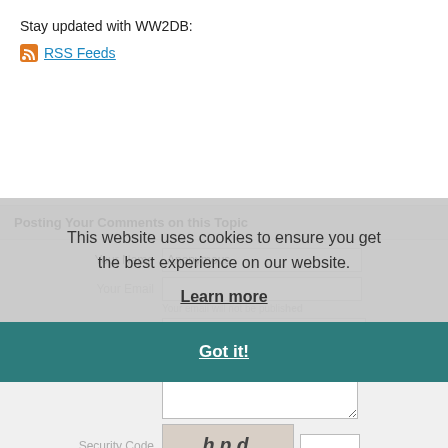Stay updated with WW2DB:
RSS Feeds
Posting Your Comments on this Topic
Your Name: Anonymous
Your Email
Your email will not be published
Comment Type: General comment/question
Your Comments
Security Code
Submit
This website uses cookies to ensure you get the best experience on our website. Learn more
Got it!